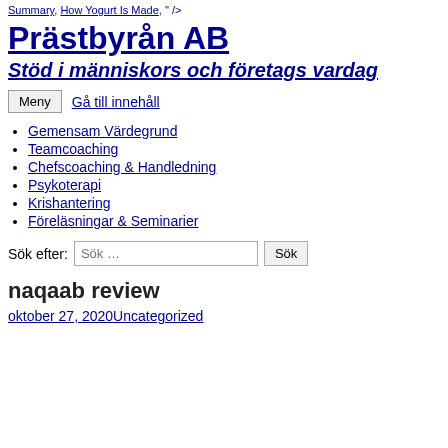Summary, How Yogurt Is Made, " />
Prästbyrån AB
Stöd i människors och företags vardag
Meny   Gå till innehåll
Gemensam Värdegrund
Teamcoaching
Chefscoaching & Handledning
Psykoterapi
Krishantering
Föreläsningar & Seminarier
Sök efter: Sök ...  Sök
naqaab review
oktober 27, 2020Uncategorized